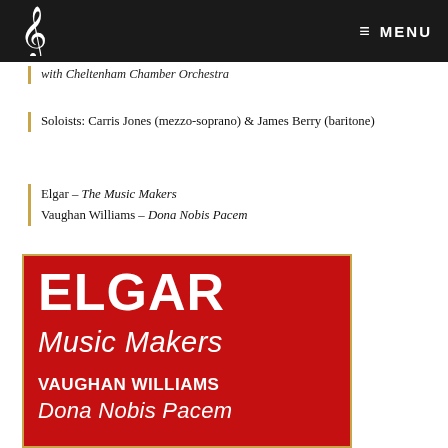MENU
with Cheltenham Chamber Orchestra
Soloists: Carris Jones (mezzo-soprano) & James Berry (baritone)
Elgar – The Music Makers
Vaughan Williams – Dona Nobis Pacem
[Figure (other): Concert poster showing ELGAR Music Makers and VAUGHAN WILLIAMS Dona Nobis Pacem with red and black background, Chipping Norton Choral Society and Cheltenham Chamber Orchestra]